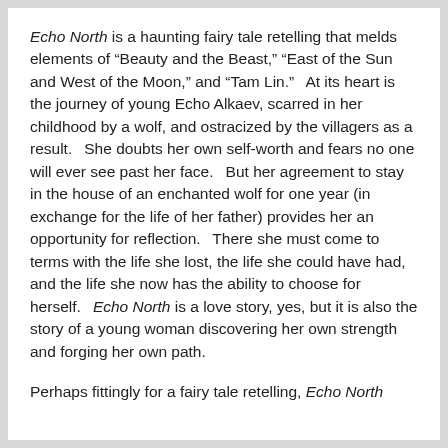Echo North is a haunting fairy tale retelling that melds elements of “Beauty and the Beast,” “East of the Sun and West of the Moon,” and “Tam Lin.”  At its heart is the journey of young Echo Alkaev, scarred in her childhood by a wolf, and ostracized by the villagers as a result.  She doubts her own self-worth and fears no one will ever see past her face.  But her agreement to stay in the house of an enchanted wolf for one year (in exchange for the life of her father) provides her an opportunity for reflection.  There she must come to terms with the life she lost, the life she could have had, and the life she now has the ability to choose for herself.  Echo North is a love story, yes, but it is also the story of a young woman discovering her own strength and forging her own path.
Perhaps fittingly for a fairy tale retelling, Echo North